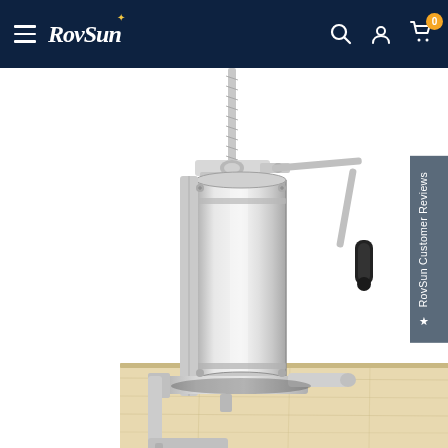RovSun — navigation bar with hamburger menu, logo, search, account, and cart icons (0 items)
[Figure (photo): A stainless steel vertical sausage stuffer/filler machine clamped onto a wooden table. The device has a cylindrical canister, a hand crank with black rubber handle on the right side, a threaded screw rod at the top, and a metal tube nozzle at the bottom. The background is white.]
★ RovSun Customer Reviews